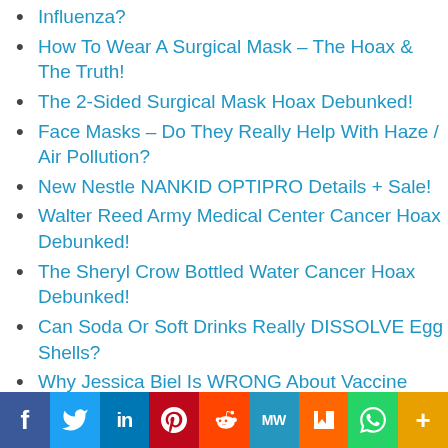Influenza?
How To Wear A Surgical Mask – The Hoax & The Truth!
The 2-Sided Surgical Mask Hoax Debunked!
Face Masks – Do They Really Help With Haze / Air Pollution?
New Nestle NANKID OPTIPRO Details + Sale!
Walter Reed Army Medical Center Cancer Hoax Debunked!
The Sheryl Crow Bottled Water Cancer Hoax Debunked!
Can Soda Or Soft Drinks Really DISSOLVE Egg Shells?
Why Jessica Biel Is WRONG About Vaccine Exemptions
Michael Carley : The Needs of Teens & Adults